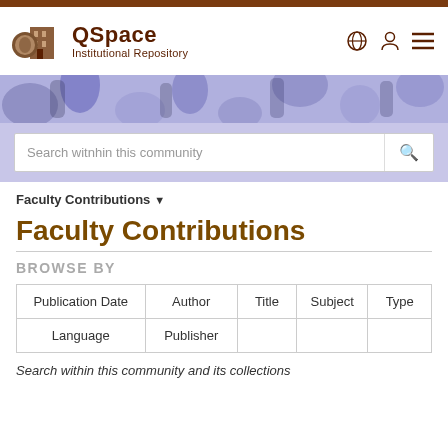[Figure (logo): QSpace Institutional Repository logo with brown building/book icon and text]
[Figure (illustration): Decorative banner with abstract blue/purple pattern]
Search witnhin this community
Faculty Contributions ▼
Faculty Contributions
BROWSE BY
| Publication Date | Author | Title | Subject | Type |
| Language | Publisher |  |  |  |
Search within this community and its collections